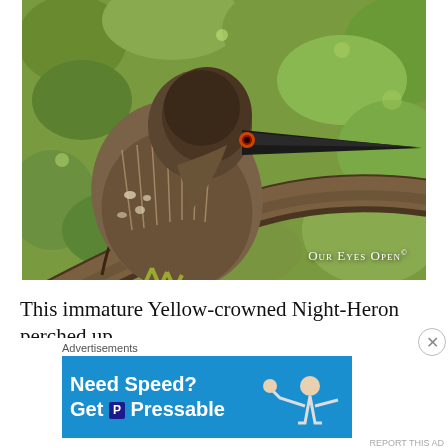[Figure (photo): A close-up photograph of an immature Yellow-crowned Night-Heron perched on a tree branch, surrounded by green foliage. The bird has brown and white streaked plumage, a dark beak, and reddish eye. Watermark reads 'OUR EYES OPEN©' in the lower right corner.]
This immature Yellow-crowned Night-Heron perched up
[Figure (screenshot): Advertisement banner with blue background. Text reads 'Need Speed? Get Pressable' with an illustration of a running person. Label above reads 'Advertisements'. Small 'REPORT THIS AD' text below.]